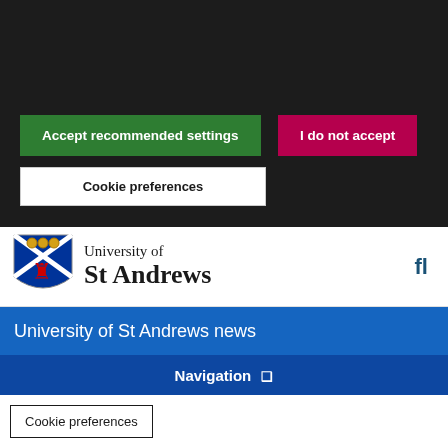Your choice regarding cookies on this site
We use cookies to optimise site functionality and give you the best possible experience
Accept recommended settings
I do not accept
Cookie preferences
[Figure (logo): University of St Andrews crest/shield logo with blue and white saltire, red lion rampant, and decorative elements]
University of St Andrews
University of St Andrews news
Navigation
Cookie preferences
s know their